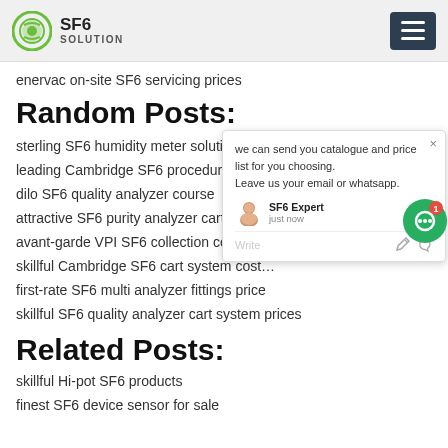SF6 SOLUTION
enervac on-site SF6 servicing prices
Random Posts:
sterling SF6 humidity meter solutions pr…
leading Cambridge SF6 procedure man…
dilo SF6 quality analyzer course
attractive SF6 purity analyzer cart syste…
avant-garde VPI SF6 collection cos…
skillful Cambridge SF6 cart system cost…
first-rate SF6 multi analyzer fittings price
skillful SF6 quality analyzer cart system prices
Related Posts:
skillful Hi-pot SF6 products
finest SF6 device sensor for sale